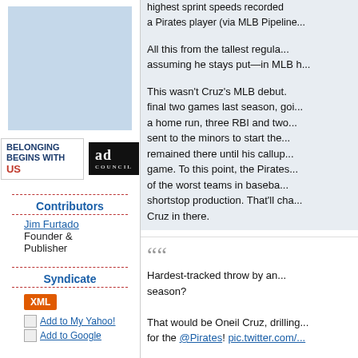[Figure (illustration): Light blue advertisement box placeholder]
[Figure (logo): Belonging Begins With US and Ad Council logos]
Contributors
Jim Furtado
Founder & Publisher
Syndicate
XML
Add to My Yahoo!
Add to Google
highest sprint speeds recorded... a Pirates player (via MLB Pipeline...
All this from the tallest regula... assuming he stays put—in MLB h...
This wasn't Cruz's MLB debut. final two games last season, goi... a home run, three RBI and two... sent to the minors to start the... remained there until his callup... game. To this point, the Pirates... of the worst teams in baseba... shortstop production. That'll cha... Cruz in there.
"Hardest-tracked throw by an... season?

That would be Oneil Cruz, drilling... for the @Pirates! pic.twitter.com/...

— MLB Pipeline (@MLBPipel... 2022
RoyalsRetro (AG#1F) Posted: June 21